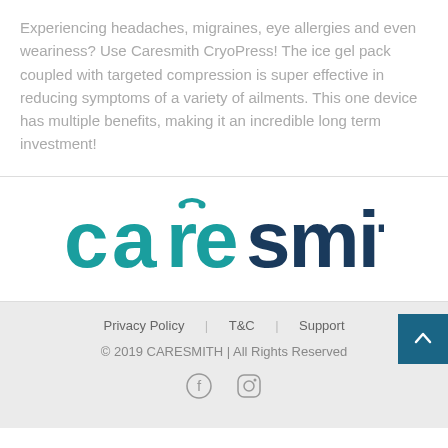Experiencing headaches, migraines, eye allergies and even weariness? Use Caresmith CryoPress! The ice gel pack coupled with targeted compression is super effective in reducing symptoms of a variety of ailments. This one device has multiple benefits, making it an incredible long term investment!
[Figure (logo): Caresmith logo in teal and dark navy colors]
Privacy Policy   T&C   Support
© 2019 CARESMITH | All Rights Reserved